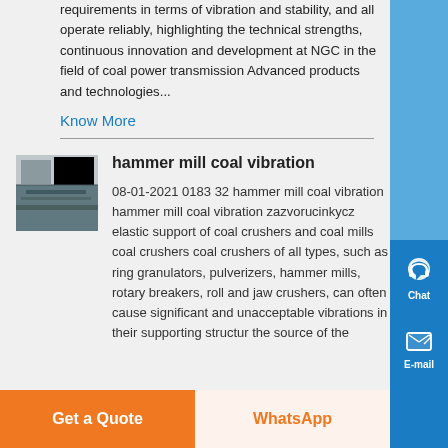requirements in terms of vibration and stability, and all operate reliably, highlighting the technical strengths, continuous innovation and development at NGC in the field of coal power transmission Advanced products and technologies...
Know More
hammer mill coal vibration
08-01-2021 0183 32 hammer mill coal vibration hammer mill coal vibration zazvorucinkycz elastic support of coal crushers and coal mills coal crushers coal crushers of all types, such as ring granulators, pulverizers, hammer mills, rotary breakers, roll and jaw crushers, can often cause significant and unacceptable vibrations in their supporting structur the source of the
Get a Quote
WhatsApp